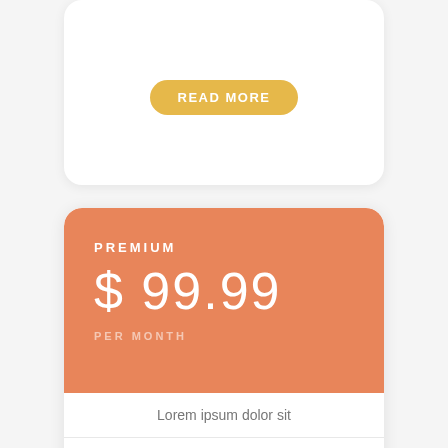READ MORE
PREMIUM
$ 99.99
PER MONTH
Lorem ipsum dolor sit
Lorem ipsum dolor sit
Lorem ipsum dolor sit